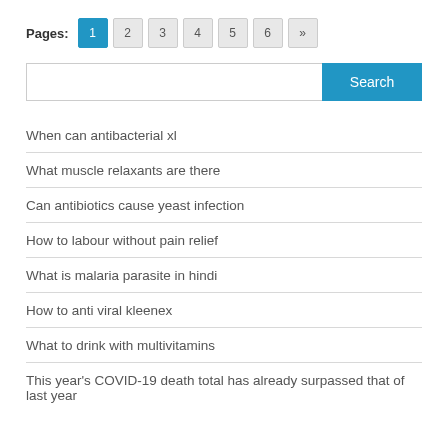Pages: 1 2 3 4 5 6 »
When can antibacterial xl
What muscle relaxants are there
Can antibiotics cause yeast infection
How to labour without pain relief
What is malaria parasite in hindi
How to anti viral kleenex
What to drink with multivitamins
This year's COVID-19 death total has already surpassed that of last year